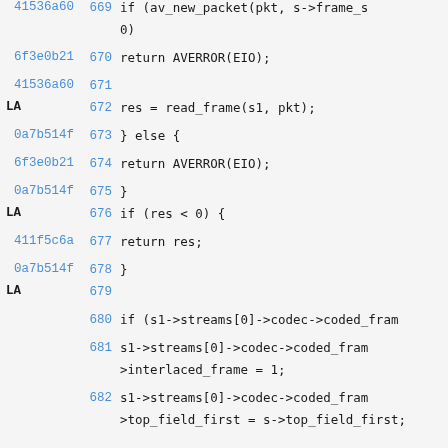Code listing showing C source lines 669–682 with commit hashes and line numbers. Content includes: if (av_new_packet(pkt, s->frame_s... 0), return AVERROR(EIO), 41536a60 LA, res = read_frame(s1, pkt), } else {, return AVERROR(EIO), }, LA, if (res < 0) {, return res;, }, LA, 679 empty, if (s1->streams[0]->codec->coded_fram..., s1->streams[0]->codec->coded_fram...->interlaced_frame = 1;, s1->streams[0]->codec->coded_fram...->top_field_first = s->top_field_first;